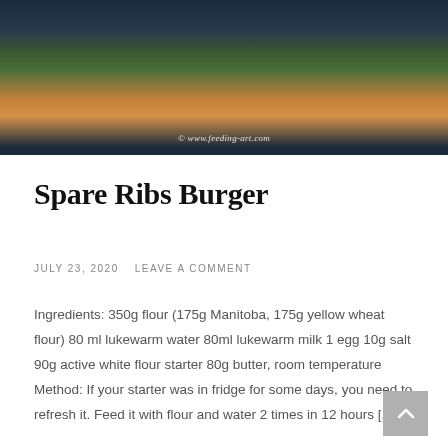[Figure (photo): Close-up photo of a spare ribs burger with lettuce on a dark plate, with watermark © www.feeding-art.com]
Spare Ribs Burger
July 23, 2020   Leave a comment
Ingredients: 350g flour (175g Manitoba, 175g yellow wheat flour) 80 ml lukewarm water 80ml lukewarm milk 1 egg 10g salt 90g active white flour starter 80g butter, room temperature Method: If your starter was in fridge for some days, you need to refresh it. Feed it with flour and water 2 times in 12 hours [...]
Continue Reading